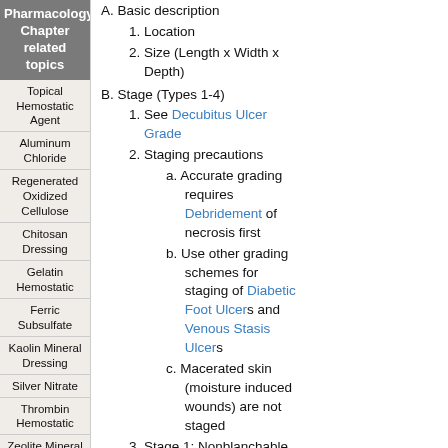Pharmacology Chapter related topics
Topical Hemostatic Agent
Aluminum Chloride
Regenerated Oxidized Cellulose
Chitosan Dressing
Gelatin Hemostatic
Ferric Subsulfate
Kaolin Mineral Dressing
Silver Nitrate
Thrombin Hemostatic
Zeolite Mineral Dressing
Wound Dressing
Odor Reducing Dressing
Saline
A. Basic description
1. Location
2. Size (Length x Width x Depth)
B. Stage (Types 1-4)
1. See Decubitus Ulcer Grade
2. Staging precautions
a. Accurate grading requires Debridement of necrosis first
b. Use other grading schemes for staging of Diabetic Foot Ulcers and Venous Stasis Ulcers
c. Macerated skin (moisture induced wounds) are not staged
3. Stage 1: Nonblanchable erythema of intact skin (pink skin, not purple)
4. Stage 2: Superficial or partial thickness skin loss (no slough or eschar)
5. Stage 3: Full thickness...